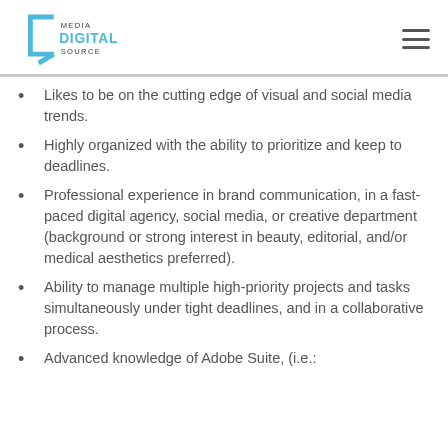Media Digital Source
Likes to be on the cutting edge of visual and social media trends.
Highly organized with the ability to prioritize and keep to deadlines.
Professional experience in brand communication, in a fast-paced digital agency, social media, or creative department (background or strong interest in beauty, editorial, and/or medical aesthetics preferred).
Ability to manage multiple high-priority projects and tasks simultaneously under tight deadlines, and in a collaborative process.
Advanced knowledge of Adobe Suite, (i.e.: